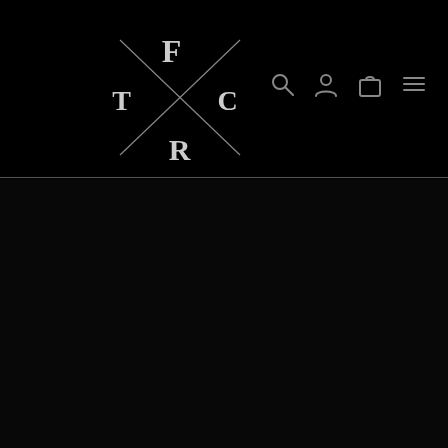[Figure (logo): TFCR brand logo — stylized letters T, F, C, R arranged around a central X cross shape, white on black background]
[Figure (other): Navigation bar icons: search (magnifying glass), account (person silhouette), cart (shopping bag), and hamburger menu lines — all in grey on black background]